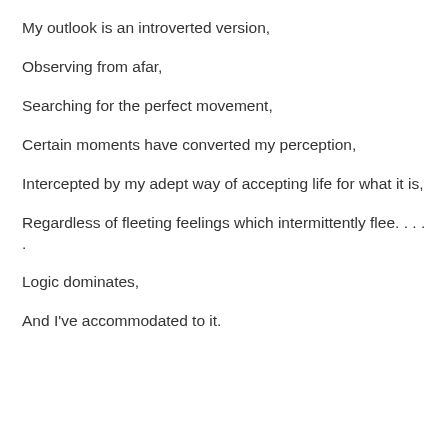My outlook is an introverted version,
Observing from afar,
Searching for the perfect movement,
Certain moments have converted my perception,
Intercepted by my adept way of accepting life for what it is,
Regardless of fleeting feelings which intermittently flee. . . . .
Logic dominates,
And I've accommodated to it.